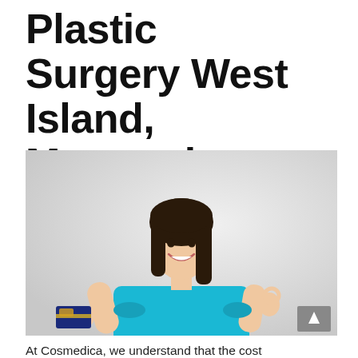Plastic Surgery West Island, Montreal
[Figure (photo): Young Asian woman in turquoise top holding a credit card in one hand and making an OK gesture with the other hand, smiling against a light grey background. A scroll-to-top button (arrow pointing up) is visible in the bottom-right corner of the image.]
At Cosmedica, we understand that the cost